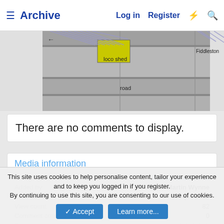Archive | Log in | Register
[Figure (screenshot): Railway layout diagram showing a loco shed (yellow rectangle), diagonal hatched track areas, and labels 'loco shed', 'Fiddleston', and 'road' on a grey background.]
There are no comments to display.
Media information
| Field | Value |
| --- | --- |
| Category: | Posted attachments |
| Added by: | Martin Wynne |
| Date added: | 17 April 2022 |
| View count: | 82 |
| Comment count: | 0 |
| Rating: | ★★★★★ |
This site uses cookies to help personalise content, tailor your experience and to keep you logged in if you register.
By continuing to use this site, you are consenting to our use of cookies.